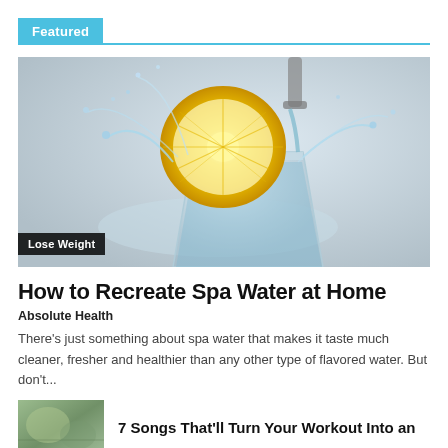Featured
[Figure (photo): A lemon slice splashing into a glass of water with water droplets flying, dramatic studio shot on gray background]
Lose Weight
How to Recreate Spa Water at Home
Absolute Health
There’s just something about spa water that makes it taste much cleaner, fresher and healthier than any other type of flavored water. But don’t...
[Figure (photo): Thumbnail image of an outdoor/nature scene, green tones]
7 Songs That’ll Turn Your Workout Into an